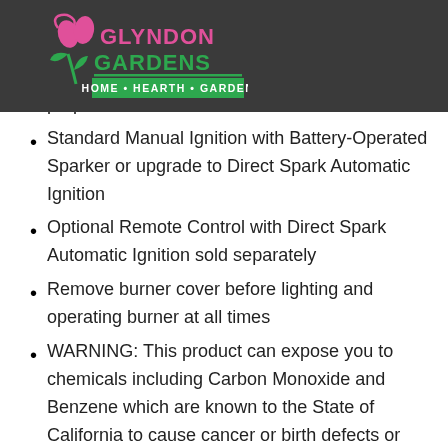Glyndon Gardens - Home • Hearth • Garden
Sliding access door conceals standard 20 lb. propane tank base
Standard Manual Ignition with Battery-Operated Sparker or upgrade to Direct Spark Automatic Ignition
Optional Remote Control with Direct Spark Automatic Ignition sold separately
Remove burner cover before lighting and operating burner at all times
WARNING: This product can expose you to chemicals including Carbon Monoxide and Benzene which are known to the State of California to cause cancer or birth defects or reproductive harm. For more information, visit Proposition 65 Warnings.